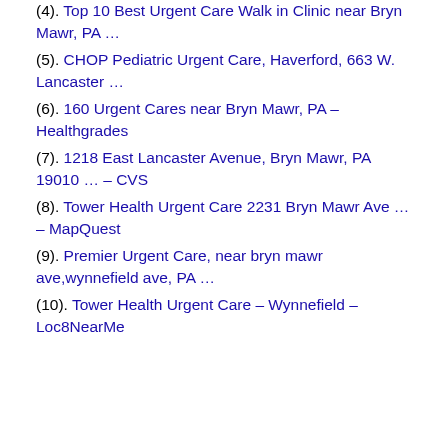(4). Top 10 Best Urgent Care Walk in Clinic near Bryn Mawr, PA …
(5). CHOP Pediatric Urgent Care, Haverford, 663 W. Lancaster …
(6). 160 Urgent Cares near Bryn Mawr, PA – Healthgrades
(7). 1218 East Lancaster Avenue, Bryn Mawr, PA 19010 … – CVS
(8). Tower Health Urgent Care 2231 Bryn Mawr Ave … – MapQuest
(9). Premier Urgent Care, near bryn mawr ave,wynnefield ave, PA …
(10). Tower Health Urgent Care – Wynnefield – Loc8NearMe